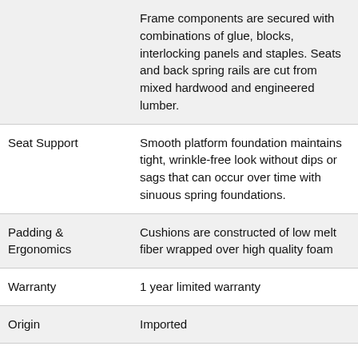|  | Frame components are secured with combinations of glue, blocks, interlocking panels and staples. Seats and back spring rails are cut from mixed hardwood and engineered lumber. |
| Seat Support | Smooth platform foundation maintains tight, wrinkle-free look without dips or sags that can occur over time with sinuous spring foundations. |
| Padding & Ergonomics | Cushions are constructed of low melt fiber wrapped over high quality foam |
| Warranty | 1 year limited warranty |
| Origin | Imported |
collection details
The Alessio collection is a great option if you are looking